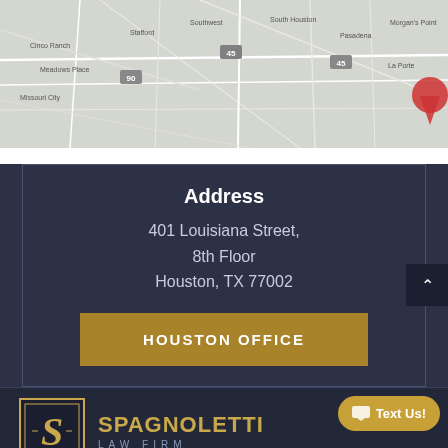[Figure (map): Greyscale road map showing Houston, TX area including Missouri City, Pasadena, and surrounding areas]
Address
401 Louisiana Street,
8th Floor
Houston, TX 77002
HOUSTON OFFICE
[Figure (logo): Spagnoletti Law Firm logo with ornate S monogram in gold square frame]
SPAGNOLETTI
LAW FIRM